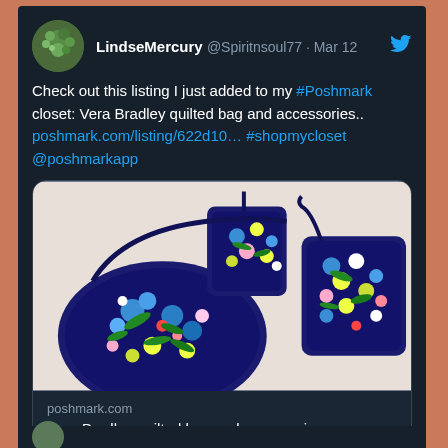[Figure (screenshot): Twitter/social media post by LindseMercury (@Spiritnsoul77) dated Mar 12, showing a tweet about a Poshmark listing for Vera Bradley quilted bag and accessories, with a link card containing a product photo of blue floral quilted bags on white fabric, and the link preview showing poshmark.com and 'Vera Bradley quilted bag and accessories.']